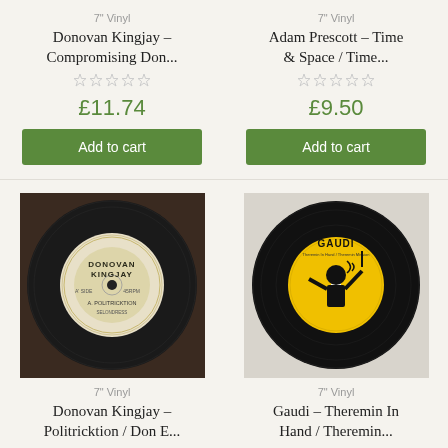7" Vinyl
Donovan Kingjay – Compromising Don...
£11.74
Add to cart
7" Vinyl
Adam Prescott – Time & Space / Time...
£9.50
Add to cart
[Figure (photo): 7-inch vinyl record with beige/cream label showing DONOVAN KINGJAY, A. POLITRICKTSON]
7" Vinyl
Donovan Kingjay – Politricktion / Don E...
[Figure (photo): 7-inch black vinyl record with yellow GAUDI label showing a figure playing theremin]
7" Vinyl
Gaudi – Theremin In Hand / Theremin...